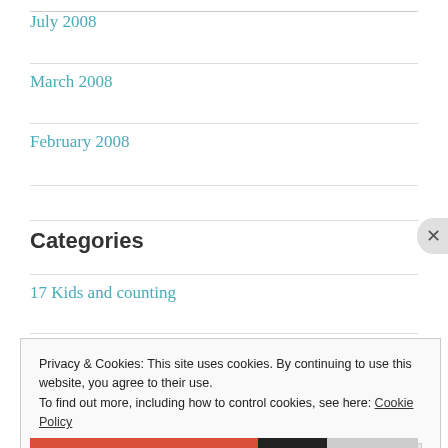July 2008
March 2008
February 2008
Categories
17 Kids and counting
Privacy & Cookies: This site uses cookies. By continuing to use this website, you agree to their use.
To find out more, including how to control cookies, see here: Cookie Policy
Close and accept